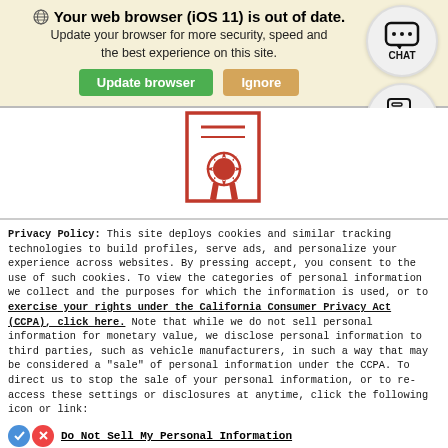Your web browser (iOS 11) is out of date. Update your browser for more security, speed and the best experience on this site.
[Figure (illustration): Certificate/award document icon with a red ribbon and seal, rendered in red outline style on white background]
[Figure (other): Circular CHAT button with speech bubble icon]
[Figure (other): Circular TEXT button with phone and speech bubble icon]
Privacy Policy: This site deploys cookies and similar tracking technologies to build profiles, serve ads, and personalize your experience across websites. By pressing accept, you consent to the use of such cookies. To view the categories of personal information we collect and the purposes for which the information is used, or to exercise your rights under the California Consumer Privacy Act (CCPA), click here. Note that while we do not sell personal information for monetary value, we disclose personal information to third parties, such as vehicle manufacturers, in such a way that may be considered a "sale" of personal information under the CCPA. To direct us to stop the sale of your personal information, or to re-access these settings or disclosures at anytime, click the following icon or link:
Do Not Sell My Personal Information
Language: English   Powered by ComplyAuto
Accept and Continue →   California Privacy Disclosures